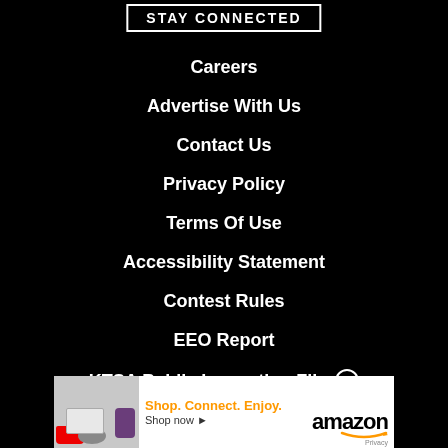STAY CONNECTED
Careers
Advertise With Us
Contact Us
Privacy Policy
Terms Of Use
Accessibility Statement
Contest Rules
EEO Report
KTSA Public Inspection File ⓘ
[Figure (screenshot): Amazon advertisement banner: Shop. Connect. Enjoy. Shop now arrow. Amazon logo with smile. Privacy text.]